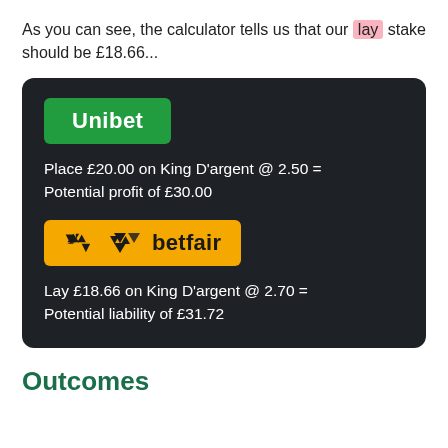As you can see, the calculator tells us that our lay stake should be £18.66...
[Figure (infographic): Dark card showing Unibet and Betfair betting instructions. Unibet (green logo): Place £20.00 on King D'argent @ 2.50 = Potential profit of £30.00. Betfair (yellow logo): Lay £18.66 on King D'argent @ 2.70 = Potential liability of £31.72.]
Outcomes